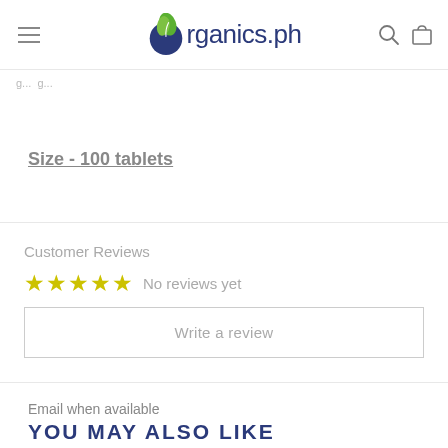organics.ph
Size - 100 tablets
Customer Reviews
☆☆☆☆☆ No reviews yet
Write a review
Email when available
YOU MAY ALSO LIKE